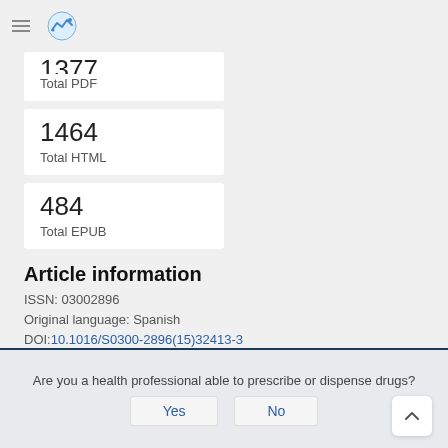1377
Total PDF
1464
Total HTML
484
Total EPUB
Article information
ISSN: 03002896
Original language: Spanish
DOI: 10.1016/S0300-2896(15)32413-3
Are you a health professional able to prescribe or dispense drugs?
Yes   No